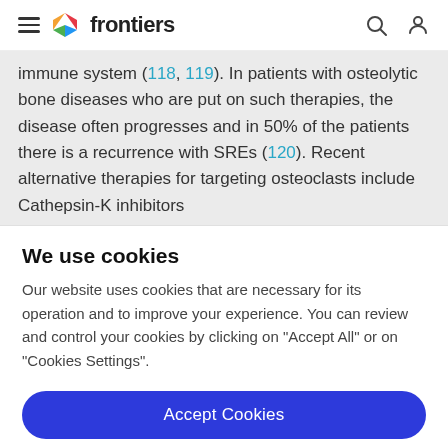frontiers
immune system (118, 119). In patients with osteolytic bone diseases who are put on such therapies, the disease often progresses and in 50% of the patients there is a recurrence with SREs (120). Recent alternative therapies for targeting osteoclasts include Cathepsin-K inhibitors
We use cookies
Our website uses cookies that are necessary for its operation and to improve your experience. You can review and control your cookies by clicking on "Accept All" or on "Cookies Settings".
Accept Cookies
Cookies Settings